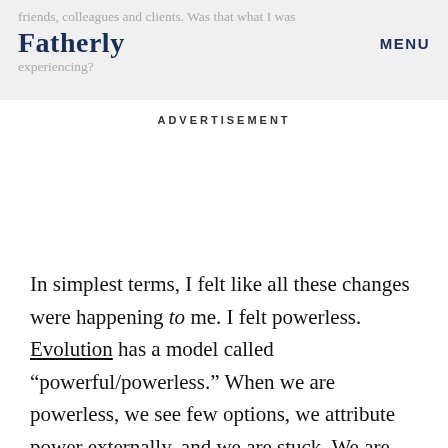friends, colleagues and clients. Was that what I was experiencing?
Fatherly
MENU
ADVERTISEMENT
In simplest terms, I felt like all these changes were happening to me. I felt powerless. Evolution has a model called “powerful/powerless.” When we are powerless, we see few options, we attribute power externally, and we are stuck. We are more likely to cling to our own opinion, get overwhelmed, and avoid conversations or experiences that could